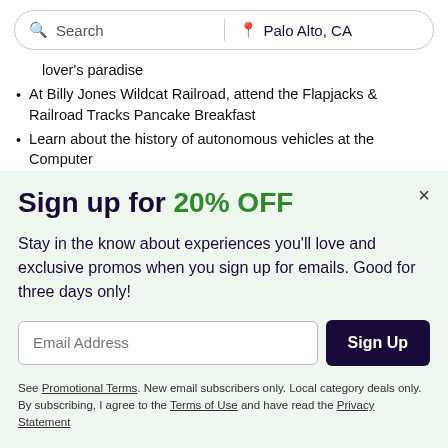Search | Palo Alto, CA
lover's paradise
At Billy Jones Wildcat Railroad, attend the Flapjacks & Railroad Tracks Pancake Breakfast
Learn about the history of autonomous vehicles at the Computer
Sign up for 20% OFF
Stay in the know about experiences you'll love and exclusive promos when you sign up for emails. Good for three days only!
Email Address
Sign Up
See Promotional Terms. New email subscribers only. Local category deals only. By subscribing, I agree to the Terms of Use and have read the Privacy Statement